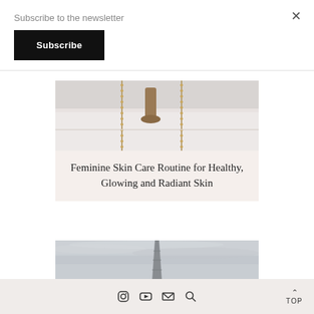Subscribe to the newsletter
Subscribe
[Figure (photo): Close-up photo of a bathtub faucet and shower fixtures in gold/bronze finish against a white marble background]
Feminine Skin Care Routine for Healthy, Glowing and Radiant Skin
[Figure (photo): Photo of the Eiffel Tower against a gray cloudy sky]
Instagram YouTube Email Search TOP